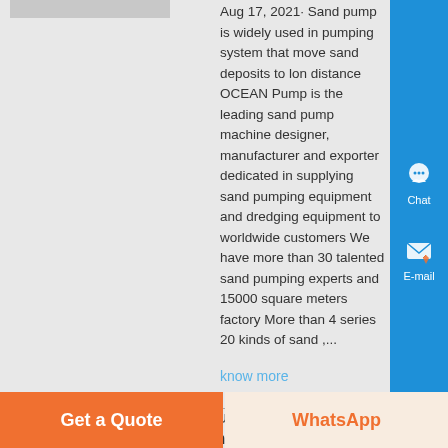[Figure (photo): Partial top edge of a product/equipment photo, cropped]
Aug 17, 2021· Sand pump is widely used in pumping system that move sand deposits to long distance OCEAN Pump is the leading sand pump machine designer, manufacturer and exporter dedicated in supplying sand pumping equipment and dredging equipment to worldwide customers We have more than 30 talented sand pumping experts and 15000 square meters factory More than 4 series 20 kinds of sand ,...
know more
[Figure (photo): Photo of a rotary gold trommel wash plant showing orange/red colored screens with blue trommel drum]
Minequip NZ – Rotary Gold Trommel Wash Plant Manufacturer
Minequip's gold mining equipment rotary
Get a Quote
WhatsApp